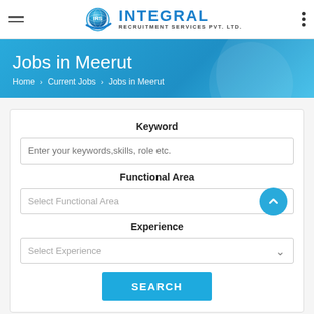[Figure (logo): Integral Recruitment Services Pvt. Ltd. logo with globe icon]
Jobs in Meerut
Home › Current Jobs › Jobs in Meerut
Keyword
Enter your keywords,skills, role etc.
Functional Area
Select Functional Area
Experience
Select Experience
SEARCH